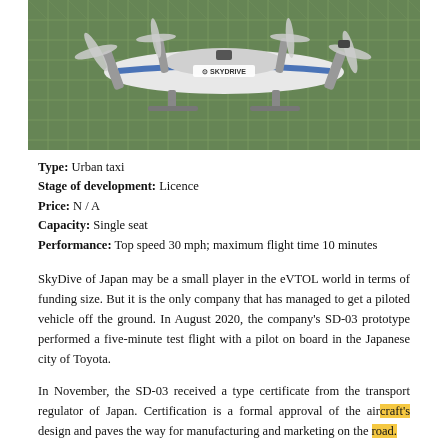[Figure (photo): SkyDrive eVTOL aircraft on a test pad with metal grid fencing in the background. White aircraft with blue and silver markings, SkyDrive logo visible on the side.]
Type: Urban taxi
Stage of development: Licence
Price: N / A
Capacity: Single seat
Performance: Top speed 30 mph; maximum flight time 10 minutes
SkyDive of Japan may be a small player in the eVTOL world in terms of funding size. But it is the only company that has managed to get a piloted vehicle off the ground. In August 2020, the company's SD-03 prototype performed a five-minute test flight with a pilot on board in the Japanese city of Toyota.
In November, the SD-03 received a type certificate from the transport regulator of Japan. Certification is a formal approval of the aircraft's design and paves the way for manufacturing and marketing on the road.